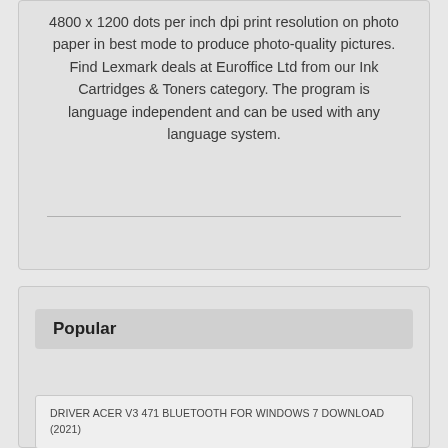4800 x 1200 dots per inch dpi print resolution on photo paper in best mode to produce photo-quality pictures. Find Lexmark deals at Euroffice Ltd from our Ink Cartridges & Toners category. The program is language independent and can be used with any language system.
Popular
DRIVER ACER V3 471 BLUETOOTH FOR WINDOWS 7 DOWNLOAD (2021)
LENOVO B50 70 VIDEO CARD DRIVER DOWNLOAD FOR